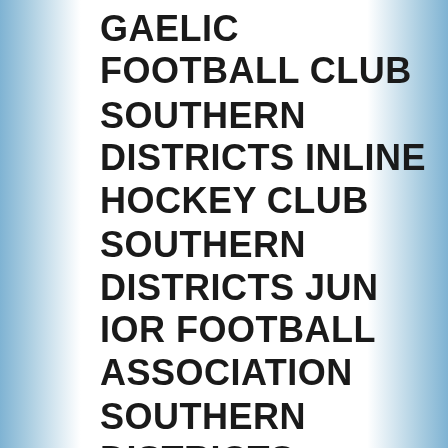GAELIC FOOTBALL CLUB
SOUTHERN DISTRICTS INLINE HOCKEY CLUB
SOUTHERN DISTRICTS JUNIOR FOOTBALL ASSOCIATION
SOUTHERN DISTRICTS LOCAL DRUG ACTION GROUP
SOUTHERN DISTRICTS NETBALL ASSOCIATION
SOUTHERN DISTRICTS RIFLE CLUB
SOUTHERN DISTRICTS SENIOR CITIZENS CENTRE